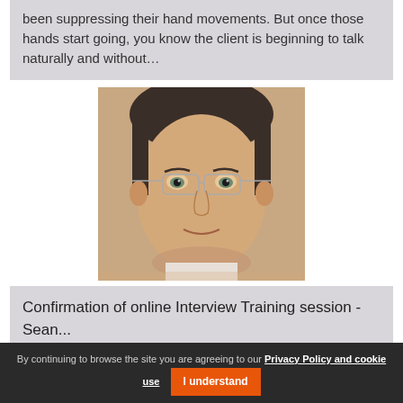been suppressing their hand movements. But once those hands start going, you know the client is beginning to talk naturally and without…
[Figure (photo): Headshot photo of a middle-aged man with glasses, dark short hair, wearing a light-colored shirt, looking directly at the camera]
Confirmation of online Interview Training session - Sean...
By continuing to browse the site you are agreeing to our Privacy Policy and cookie use  I understand